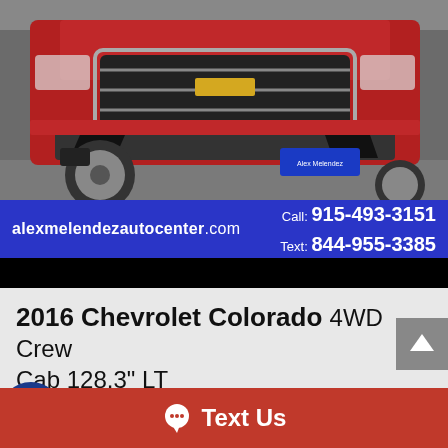[Figure (photo): Front view of a red 2016 Chevrolet Colorado pickup truck, showing grille, bumper, and front wheels, parked indoors with a dealer license plate frame visible.]
alexmelendezautocenter.com   Call: 915-493-3151   Text: 844-955-3385
2016 Chevrolet Colorado 4WD Crew Cab 128.3" LT
Retail $26,995
Text Us